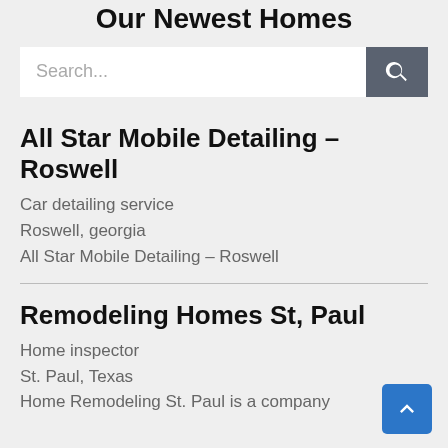Our Newest Homes
[Figure (screenshot): Search bar with text input and magnifying glass button]
All Star Mobile Detailing – Roswell
Car detailing service
Roswell, georgia
All Star Mobile Detailing – Roswell
Remodeling Homes St, Paul
Home inspector
St. Paul, Texas
Home Remodeling St. Paul is a company